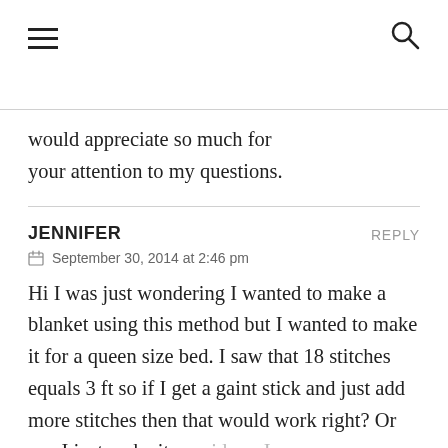≡  🔍
would appreciate so much for your attention to my questions.
JENNIFER  REPLY
September 30, 2014 at 2:46 pm
Hi I was just wondering I wanted to make a blanket using this method but I wanted to make it for a queen size bed. I saw that 18 stitches equals 3 ft so if I get a gaint stick and just add more stitches then that would work right? Or can I just make it as wide as I can on my arm and then maybe do another one and attach it to the first